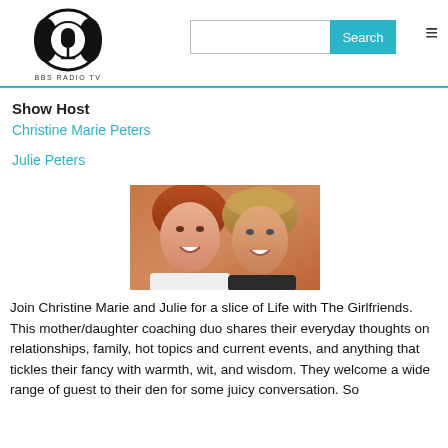BBS RADIO TV
Show Host
Christine Marie Peters
Julie Peters
[Figure (photo): Photo of two smiling women, a mother and daughter (Christine Marie Peters and Julie Peters), posing together closely. Both have light hair and are smiling warmly.]
Join Christine Marie and Julie for a slice of Life with The Girlfriends. This mother/daughter coaching duo shares their everyday thoughts on relationships, family, hot topics and current events, and anything that tickles their fancy with warmth, wit, and wisdom. They welcome a wide range of guest to their den for some juicy conversation. So